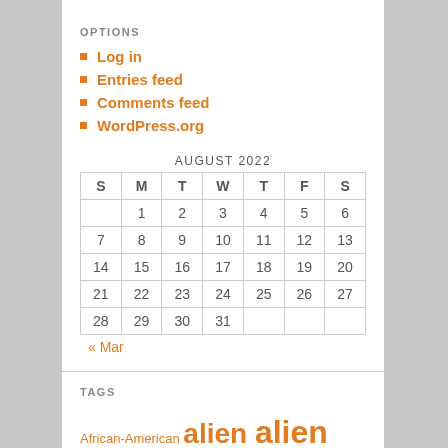OPTIONS
Log in
Entries feed
Comments feed
WordPress.org
| S | M | T | W | T | F | S |
| --- | --- | --- | --- | --- | --- | --- |
|  | 1 | 2 | 3 | 4 | 5 | 6 |
| 7 | 8 | 9 | 10 | 11 | 12 | 13 |
| 14 | 15 | 16 | 17 | 18 | 19 | 20 |
| 21 | 22 | 23 | 24 | 25 | 26 | 27 |
| 28 | 29 | 30 | 31 |  |  |  |
« Mar
TAGS
African-American alien alien invasion America authors